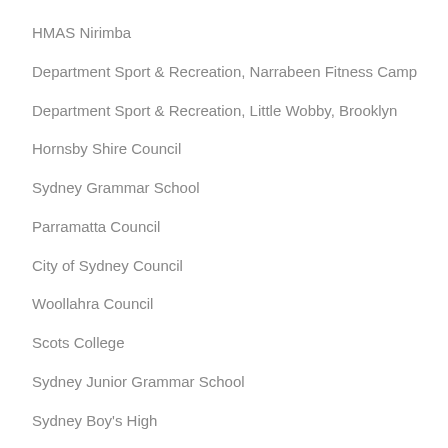HMAS Nirimba
Department Sport & Recreation, Narrabeen Fitness Camp
Department Sport & Recreation, Little Wobby, Brooklyn
Hornsby Shire Council
Sydney Grammar School
Parramatta Council
City of Sydney Council
Woollahra Council
Scots College
Sydney Junior Grammar School
Sydney Boy's High
Department Defence Holsworthy Army Barracks
Sydney Church of England Grammar School